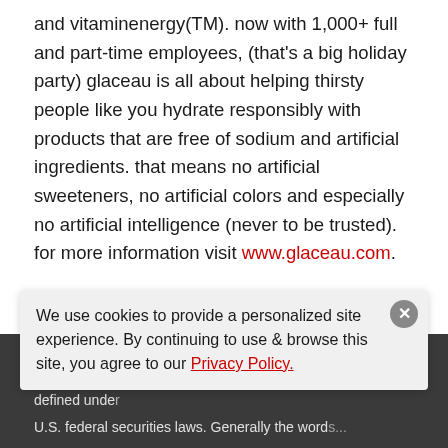and vitaminenergy(TM). now with 1,000+ full and part-time employees, (that's a big holiday party) glaceau is all about helping thirsty people like you hydrate responsibly with products that are free of sodium and artificial ingredients. that means no artificial sweeteners, no artificial colors and especially no artificial intelligence (never to be trusted). for more information visit www.glaceau.com.
Forward-Looking Statements
This press release may contain statements, estimates or projections that constitute "forward-looking statements" as defined under U.S. federal securities laws. Generally the word...
We use cookies to provide a personalized site experience. By continuing to use & browse this site, you agree to our Privacy Policy.